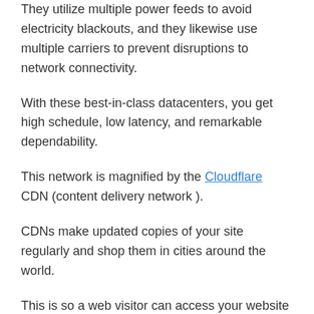They utilize multiple power feeds to avoid electricity blackouts, and they likewise use multiple carriers to prevent disruptions to network connectivity.
With these best-in-class datacenters, you get high schedule, low latency, and remarkable dependability.
This network is magnified by the Cloudflare CDN (content delivery network ).
CDNs make updated copies of your site regularly and shop them in cities around the world.
This is so a web visitor can access your website